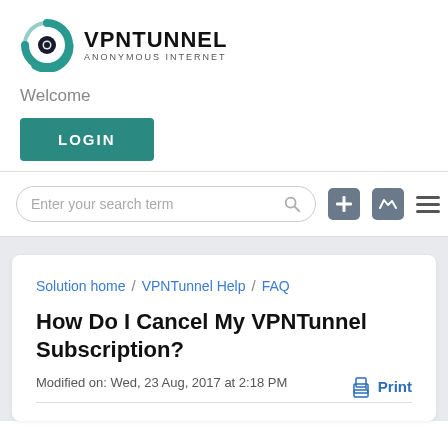[Figure (logo): VPNTunnel logo: circular teal swirl with dark eye/pupil in center, beside bold text VPNTUNNEL with ANONYMOUS INTERNET subtitle]
Welcome
LOGIN
[Figure (screenshot): Search bar with placeholder 'Enter your search term', plus icon buttons and hamburger menu]
Solution home / VPNTunnel Help / FAQ
How Do I Cancel My VPNTunnel Subscription?
Modified on: Wed, 23 Aug, 2017 at 2:18 PM